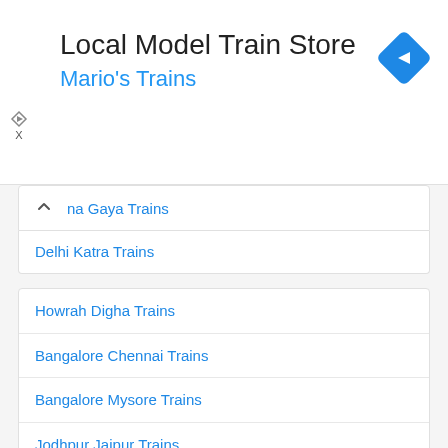Local Model Train Store
Mario's Trains
na Gaya Trains
Delhi Katra Trains
Howrah Digha Trains
Bangalore Chennai Trains
Bangalore Mysore Trains
Jodhpur Jaipur Trains
Lucknow Agra Trains